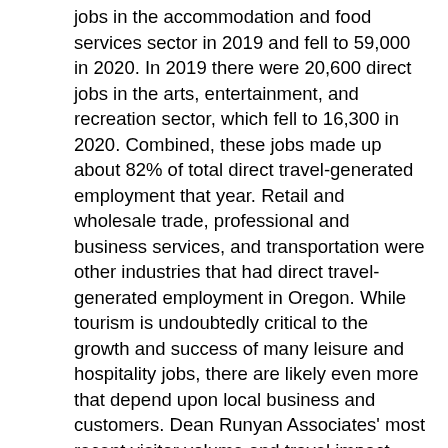jobs in the accommodation and food services sector in 2019 and fell to 59,000 in 2020. In 2019 there were 20,600 direct jobs in the arts, entertainment, and recreation sector, which fell to 16,300 in 2020. Combined, these jobs made up about 82% of total direct travel-generated employment that year. Retail and wholesale trade, professional and business services, and transportation were other industries that had direct travel-generated employment in Oregon. While tourism is undoubtedly critical to the growth and success of many leisure and hospitality jobs, there are likely even more that depend upon local business and customers. Dean Runyan Associates' most recent visitor volume and travel impact report can be found at: https://www.travelstats.com/reports.
Leisure and Hospitality's Sales and Share of Oregon's Gross Domestic Product
According to the 2017 Economic Census, sales in Oregon's accommodation and food services industry